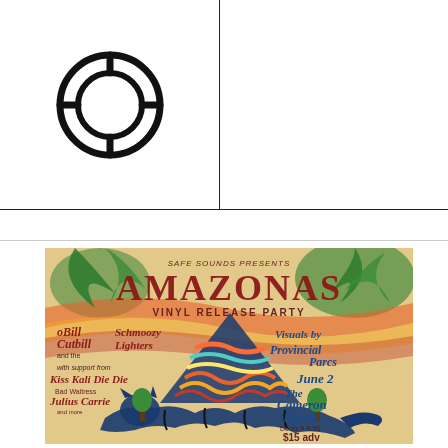[Figure (logo): Circular logo with crosshair/target design, black outline on white background]
[Figure (illustration): Colorful concert poster for AMAZONAS Vinyl Release Party. Safe Sounds Presents. Featuring Bill Cutbill and the Schmoozy Lighters, Visuals by Provincial Parcs, with support from Kiss Kali Die Die, Bad Waitress, Julius Carnie, and others. June 2, The Cameron House. Doors 9:30. $15 adv. Psychedelic artwork with a tiger and tropical motifs.]